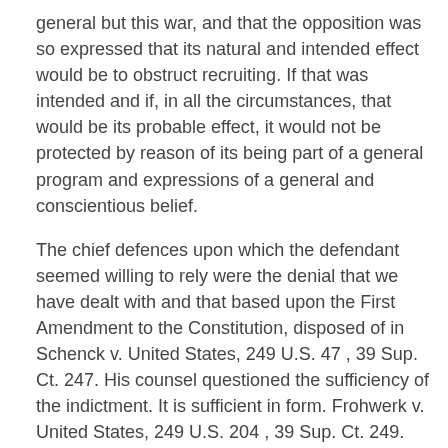general but this war, and that the opposition was so expressed that its natural and intended effect would be to obstruct recruiting. If that was intended and if, in all the circumstances, that would be its probable effect, it would not be protected by reason of its being part of a general program and expressions of a general and conscientious belief.
The chief defences upon which the defendant seemed willing to rely were the denial that we have dealt with and that based upon the First Amendment to the Constitution, disposed of in Schenck v. United States, 249 U.S. 47 , 39 Sup. Ct. 247. His counsel questioned the sufficiency of the indictment. It is sufficient in form. Frohwerk v. United States, 249 U.S. 204 , 39 Sup. Ct. 249. The most important question that remains is raised by the admission in evidence of the record of the conviction of Ruthenberg, Wagenknecht and Baker, Rose Pastor Stokes, and Kate Richards O'Hare. The defendant purported to understand the grounds on which